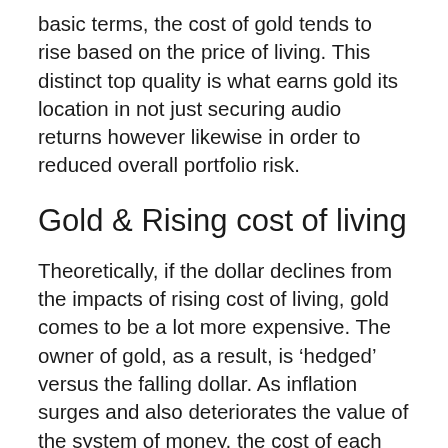basic terms, the cost of gold tends to rise based on the price of living. This distinct top quality is what earns gold its location in not just securing audio returns however likewise in order to reduced overall portfolio risk.
Gold & Rising cost of living
Theoretically, if the dollar declines from the impacts of rising cost of living, gold comes to be a lot more expensive. The owner of gold, as a result, is ‘hedged’ versus the falling dollar. As inflation surges and also deteriorates the value of the system of money, the cost of each ounce of gold will certainly climb specifically. The investor is after that made up for this rising cost of living for every single ounce of gold they